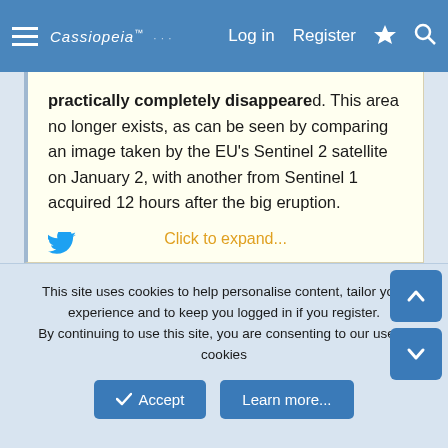Cassiopeia | Log in | Register
practically completely disappeared. This area no longer exists, as can be seen by comparing an image taken by the EU's Sentinel 2 satellite on January 2, with another from Sentinel 1 acquired 12 hours after the big eruption.
https://twitter.com/i/web/status/1482656119038394370
Click to expand...
This site uses cookies to help personalise content, tailor your experience and to keep you logged in if you register.
By continuing to use this site, you are consenting to our use of cookies
Accept | Learn more...